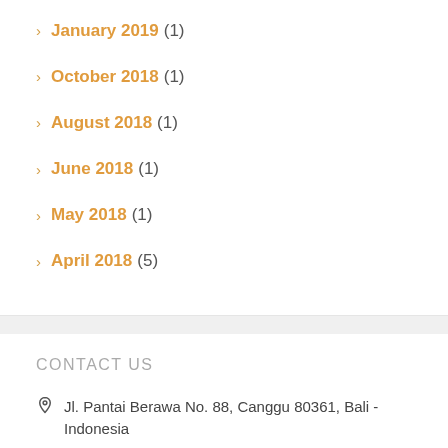January 2019 (1)
October 2018 (1)
August 2018 (1)
June 2018 (1)
May 2018 (1)
April 2018 (5)
CONTACT US
Jl. Pantai Berawa No. 88, Canggu 80361, Bali - Indonesia
+62 (0) 361 737 358